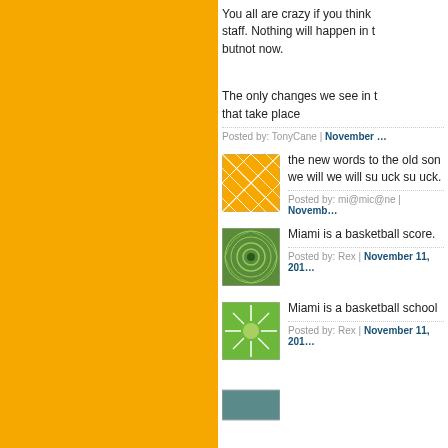You all are crazy if you think staff. Nothing will happen in t butnot now.
The only changes we see in that take place
Posted by: TonyCane | November
[Figure (illustration): Orange geometric web pattern avatar]
the new words to the old son we will we will su uck su uck.
Posted by: mi@mic@ne | Novemb
[Figure (illustration): Green swirl pattern avatar]
Miami is a basketball score.
Posted by: Rex | November 11, 201
[Figure (illustration): Green sunburst pattern avatar]
Miami is a basketball school
Posted by: Rex | November 11, 201
[Figure (illustration): Partially visible avatar at bottom]